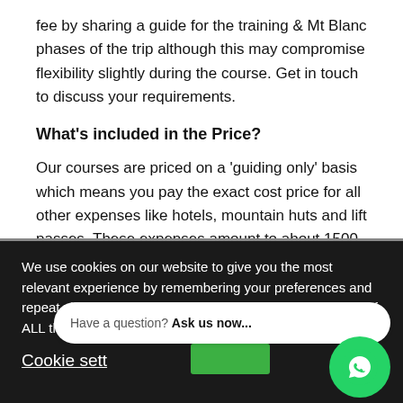fee by sharing a guide for the training & Mt Blanc phases of the trip although this may compromise flexibility slightly during the course. Get in touch to discuss your requirements.
What's included in the Price?
Our courses are priced on a 'guiding only' basis which means you pay the exact cost price for all other expenses like hotels, mountain huts and lift passes. These expenses amount to about 1500 euros which includes 13 nights half board accommodation in a hotel & mountain huts & lift
We use cookies on our website to give you the most relevant experience by remembering your preferences and repeat visits. By clicking "Accept", you consent to the use of ALL the cookies.
Cookie settings
Have a question? Ask us now...